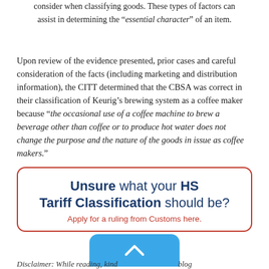consider when classifying goods. These types of factors can assist in determining the “essential character” of an item.
Upon review of the evidence presented, prior cases and careful consideration of the facts (including marketing and distribution information), the CITT determined that the CBSA was correct in their classification of Keurig’s brewing system as a coffee maker because “the occasional use of a coffee machine to brew a beverage other than coffee or to produce hot water does not change the purpose and the nature of the goods in issue as coffee makers.”
Unsure what your HS Tariff Classification should be? Apply for a ruling from Customs here.
Disclaimer: While reading, kind... blog